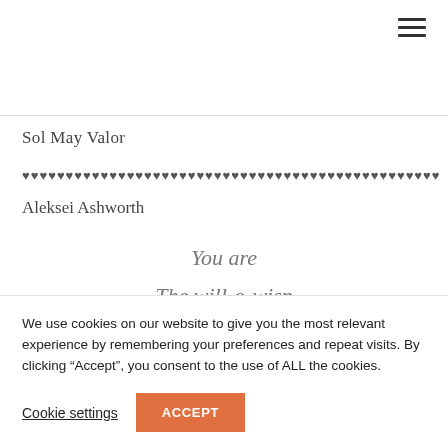[Figure (other): Hamburger menu icon (three horizontal lines) in the top right corner]
Sol May Valor
♥♥♥♥♥♥♥♥♥♥♥♥♥♥♥♥♥♥♥♥♥♥♥♥♥♥♥♥♥♥♥♥♥♥♥♥♥♥♥♥♥♥♥♥♥♥♥♥♥♥♥
Aleksei Ashworth
You are
The will-o-wisp
That guides travellers home
We use cookies on our website to give you the most relevant experience by remembering your preferences and repeat visits. By clicking “Accept”, you consent to the use of ALL the cookies.
Cookie settings
ACCEPT